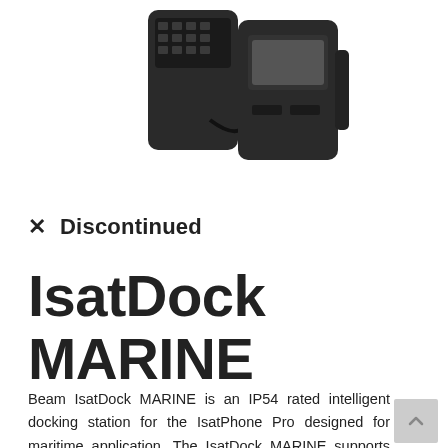[Figure (photo): Product photo of IsatDock MARINE device — two black rectangular units connected, one with a keypad/display and one as a dock, photographed from above on white background.]
✕  Discontinued
IsatDock MARINE
Beam IsatDock MARINE is an IP54 rated intelligent docking station for the IsatPhone Pro designed for maritime application. The IsatDock MARINE supports voice services via Bluetooth, POTS/RJ11, speakerphone or the active privacy handset. The handset is completely enclosed in the docking unit while still